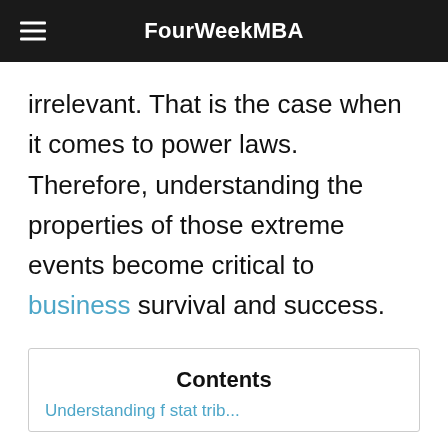FourWeekMBA
irrelevant. That is the case when it comes to power laws. Therefore, understanding the properties of those extreme events become critical to business survival and success.
Contents